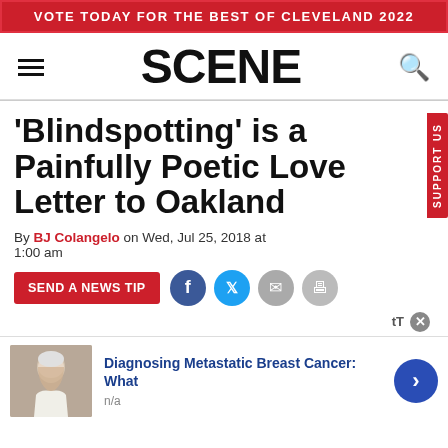VOTE TODAY FOR THE BEST OF CLEVELAND 2022
SCENE
'Blindspotting' is a Painfully Poetic Love Letter to Oakland
By BJ Colangelo on Wed, Jul 25, 2018 at 1:00 am
SEND A NEWS TIP
[Figure (other): Advertisement card showing an elderly woman with text: Diagnosing Metastatic Breast Cancer: What, n/a]
Diagnosing Metastatic Breast Cancer: What
n/a